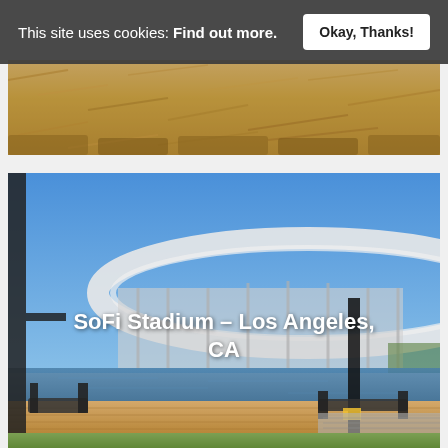This site uses cookies: Find out more. Okay, Thanks!
[Figure (photo): Top portion of a photo showing wood chips or sawdust on ground]
[Figure (photo): SoFi Stadium in Los Angeles, CA — exterior view with modern curved white roof structure, blue sky, foreground showing construction equipment and wooden platform with clamps]
SoFi Stadium – Los Angeles, CA
[Figure (photo): Bottom strip of another photo, appears to show greenery/trees]